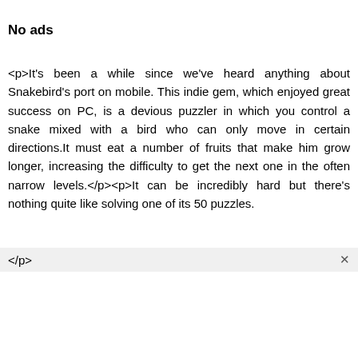No ads
<p>It's been a while since we've heard anything about Snakebird's port on mobile. This indie gem, which enjoyed great success on PC, is a devious puzzler in which you control a snake mixed with a bird who can only move in certain directions.It must eat a number of fruits that make him grow longer, increasing the difficulty to get the next one in the often narrow levels.</p><p>It can be incredibly hard but there's nothing quite like solving one of its 50 puzzles. </p>
</p>